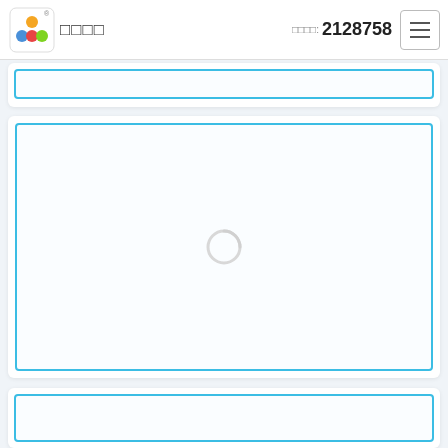□□□□  □□□□: 2128758  ☰
[Figure (screenshot): Top partial card panel with blue border, content area partially visible]
[Figure (screenshot): Main large card panel with blue border and a loading spinner circle in the center]
[Figure (screenshot): Bottom partial card panel with blue border, content area partially visible]